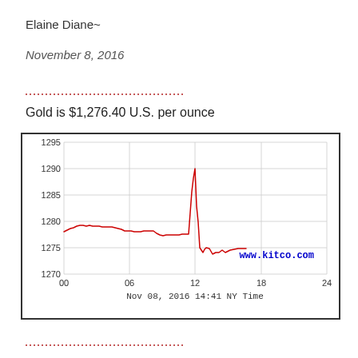Elaine Diane~
November 8, 2016
Gold is $1,276.40 U.S. per ounce
[Figure (continuous-plot): Line chart showing gold price in USD on Nov 08, 2016 14:41 NY Time. X-axis: 00, 06, 12, 18, 24. Y-axis: 1270 to 1295. Price starts around 1282, rises to ~1285, dips to ~1280, spikes up to ~1290 around hour 12, then drops sharply to ~1273, then recovers slightly to ~1276. Source: www.kitco.com]